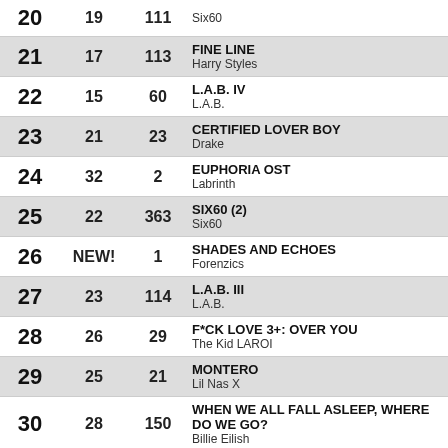| # | PREV | WKS | TITLE / ARTIST |
| --- | --- | --- | --- |
| 20 | 19 | 111 | Six60 / Six60 |
| 21 | 17 | 113 | FINE LINE / Harry Styles |
| 22 | 15 | 60 | L.A.B. IV / L.A.B. |
| 23 | 21 | 23 | CERTIFIED LOVER BOY / Drake |
| 24 | 32 | 2 | EUPHORIA OST / Labrinth |
| 25 | 22 | 363 | SIX60 (2) / Six60 |
| 26 | NEW! | 1 | SHADES AND ECHOES / Forenzics |
| 27 | 23 | 114 | L.A.B. III / L.A.B. |
| 28 | 26 | 29 | F*CK LOVE 3+: OVER YOU / The Kid LAROI |
| 29 | 25 | 21 | MONTERO / Lil Nas X |
| 30 | 28 | 150 | WHEN WE ALL FALL ASLEEP, WHERE DO WE GO? / Billie Eilish |